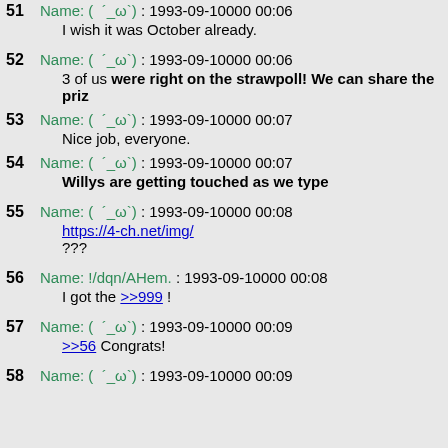51 Name: ( ´_ω`) : 1993-09-10000 00:06
    I wish it was October already.
52 Name: ( ´_ω`) : 1993-09-10000 00:06
    3 of us were right on the strawpoll! We can share the priz
53 Name: ( ´_ω`) : 1993-09-10000 00:07
    Nice job, everyone.
54 Name: ( ´_ω`) : 1993-09-10000 00:07
    Willys are getting touched as we type
55 Name: ( ´_ω`) : 1993-09-10000 00:08
    https://4-ch.net/img/
    ???
56 Name: !/dqn/AHem. : 1993-09-10000 00:08
    I got the >>999 !
57 Name: ( ´_ω`) : 1993-09-10000 00:09
    >>56 Congrats!
58 Name: ( ´_ω`) : 1993-09-10000 00:09